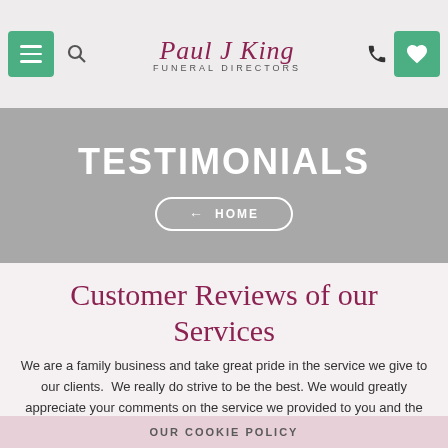Paul J King FUNERAL DIRECTORS
TESTIMONIALS
← HOME
Customer Reviews of our Services
We are a family business and take great pride in the service we give to our clients. We really do strive to be the best. We would greatly appreciate your comments on the service we provided to you and the care you received from our staff.
OUR COOKIE POLICY